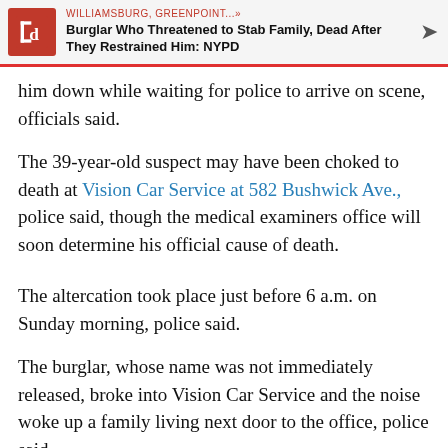WILLIAMSBURG, GREENPOINT...» Burglar Who Threatened to Stab Family, Dead After They Restrained Him: NYPD
him down while waiting for police to arrive on scene, officials said.
The 39-year-old suspect may have been choked to death at Vision Car Service at 582 Bushwick Ave., police said, though the medical examiners office will soon determine his official cause of death.
The altercation took place just before 6 a.m. on Sunday morning, police said.
The burglar, whose name was not immediately released, broke into Vision Car Service and the noise woke up a family living next door to the office, police said.